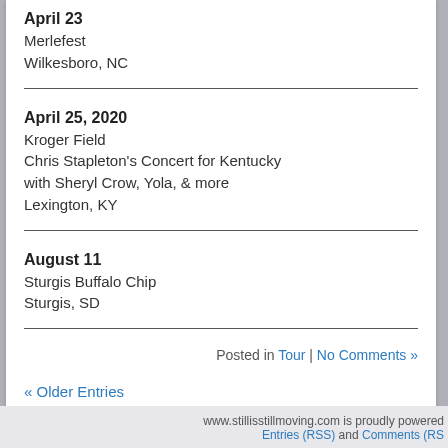April 23
Merlefest
Wilkesboro, NC
April 25, 2020
Kroger Field
Chris Stapleton's Concert for Kentucky
with Sheryl Crow, Yola, & more
Lexington, KY
August 11
Sturgis Buffalo Chip
Sturgis, SD
Posted in Tour | No Comments »
« Older Entries
www.stillisstillmoving.com is proudly powered
Entries (RSS) and Comments (RS…